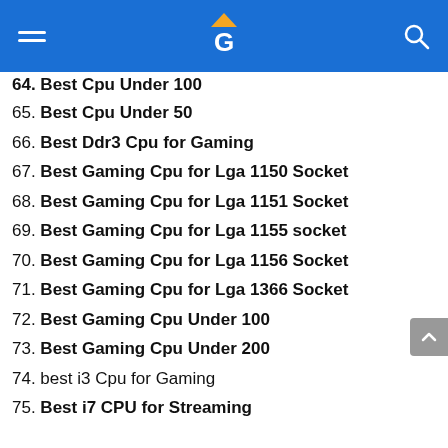Navigation header with hamburger menu, G logo, and search icon
64. Best Cpu Under 100 (partial, cut off)
65. Best Cpu Under 50
66. Best Ddr3 Cpu for Gaming
67. Best Gaming Cpu for Lga 1150 Socket
68. Best Gaming Cpu for Lga 1151 Socket
69. Best Gaming Cpu for Lga 1155 socket
70. Best Gaming Cpu for Lga 1156 Socket
71. Best Gaming Cpu for Lga 1366 Socket
72. Best Gaming Cpu Under 100
73. Best Gaming Cpu Under 200
74. best i3 Cpu for Gaming
75. Best i7 CPU for Streaming